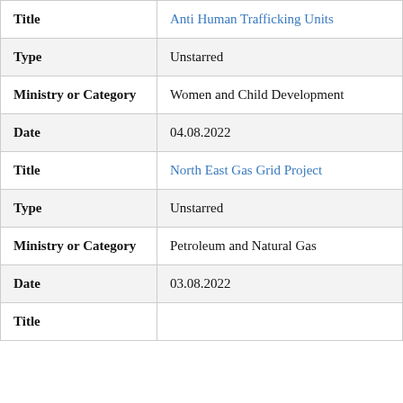| Field | Value |
| --- | --- |
| Title | Anti Human Trafficking Units |
| Type | Unstarred |
| Ministry or Category | Women and Child Development |
| Date | 04.08.2022 |
| Title | North East Gas Grid Project |
| Type | Unstarred |
| Ministry or Category | Petroleum and Natural Gas |
| Date | 03.08.2022 |
| Title |  |